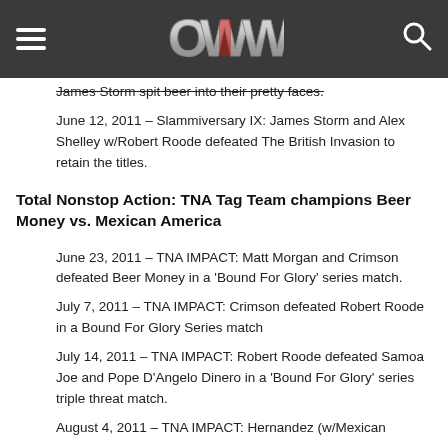OWW
James Storm spit beer into their pretty faces.
June 12, 2011 – Slammiversary IX: James Storm and Alex Shelley w/Robert Roode defeated The British Invasion to retain the titles.
Total Nonstop Action: TNA Tag Team champions Beer Money vs. Mexican America
June 23, 2011 – TNA IMPACT: Matt Morgan and Crimson defeated Beer Money in a 'Bound For Glory' series match.
July 7, 2011 – TNA IMPACT: Crimson defeated Robert Roode in a Bound For Glory Series match
July 14, 2011 – TNA IMPACT: Robert Roode defeated Samoa Joe and Pope D'Angelo Dinero in a 'Bound For Glory' series triple threat match.
August 4, 2011 – TNA IMPACT: Hernandez (w/Mexican…